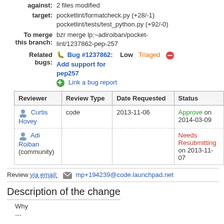against: 2 files modified
target: pocketlint/formatcheck.py (+28/-1)
pocketlint/tests/test_python.py (+92/-0)
To merge this branch: bzr merge lp:~adiroiban/pocket-lint/1237862-pep-257
Related bugs: Bug #1237862: Add support for pep257 Low Triaged [icon] [Link a bug report]
| Reviewer | Review Type | Date Requested | Status |
| --- | --- | --- | --- |
| Curtis Hovey | code | 2013-11-06 | Approve on 2014-03-09 |
| Adi Roiban (community) |  |  | Needs Resubmitting on 2013-11-07 |
Review via email: [icon] mp+194239@code.launchpad.net
Description of the change
Why
---